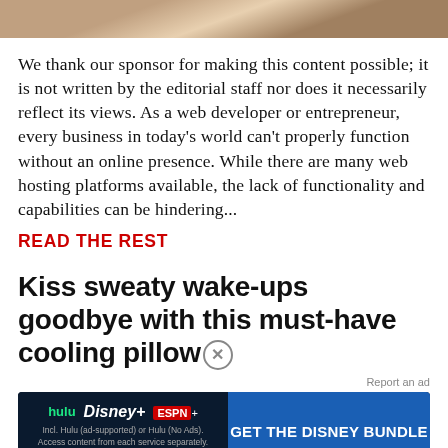[Figure (photo): Partial photo at top of page, showing what appears to be a desk or workspace setting]
We thank our sponsor for making this content possible; it is not written by the editorial staff nor does it necessarily reflect its views. As a web developer or entrepreneur, every business in today's world can't properly function without an online presence. While there are many web hosting platforms available, the lack of functionality and capabilities can be hindering...
READ THE REST
Kiss sweaty wake-ups goodbye with this must-have cooling pillow
Report an ad
[Figure (infographic): Disney Bundle advertisement showing Hulu, Disney+, and ESPN+ logos with a blue 'GET THE DISNEY BUNDLE' call to action button and fine print text: Incl. Hulu (ad-supported) or Hulu (No Ads). Access content from each service separately. ©2021 Disney and its related entities]